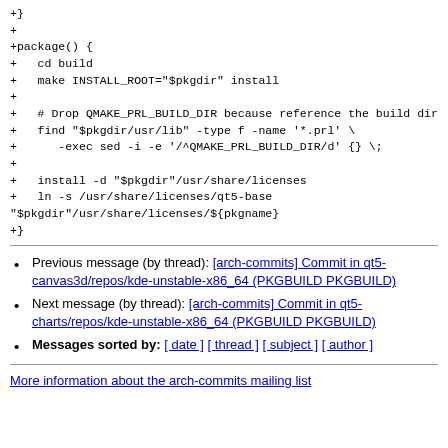+}
+
+package() {
+   cd build
+   make INSTALL_ROOT="$pkgdir" install
+
+   # Drop QMAKE_PRL_BUILD_DIR because reference the build dir
+   find "$pkgdir/usr/lib" -type f -name '*.prl' \
+      -exec sed -i -e '/^QMAKE_PRL_BUILD_DIR/d' {} \;
+
+   install -d "$pkgdir"/usr/share/licenses
+   ln -s /usr/share/licenses/qt5-base
"$pkgdir"/usr/share/licenses/${pkgname}
+}
Previous message (by thread): [arch-commits] Commit in qt5-canvas3d/repos/kde-unstable-x86_64 (PKGBUILD PKGBUILD)
Next message (by thread): [arch-commits] Commit in qt5-charts/repos/kde-unstable-x86_64 (PKGBUILD PKGBUILD)
Messages sorted by: [ date ] [ thread ] [ subject ] [ author ]
More information about the arch-commits mailing list